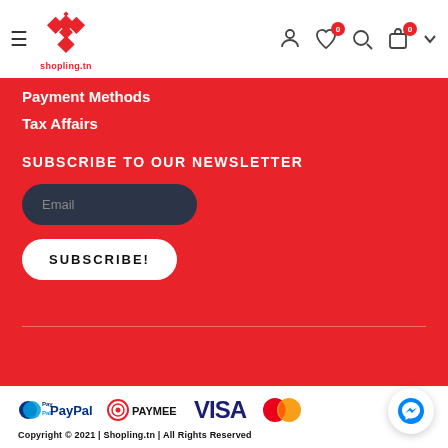shopling.tn header with logo and navigation icons
Payment Methods
Tax Affairs
SUBSCRIBE TO OUR NEWSLETTER
Email
SUBSCRIBE!
[Figure (logo): PayPal logo]
[Figure (logo): Paymee logo]
[Figure (logo): Visa logo]
[Figure (logo): Mastercard logo]
Copyright © 2021 | Shopling.tn | All Rights Reserved